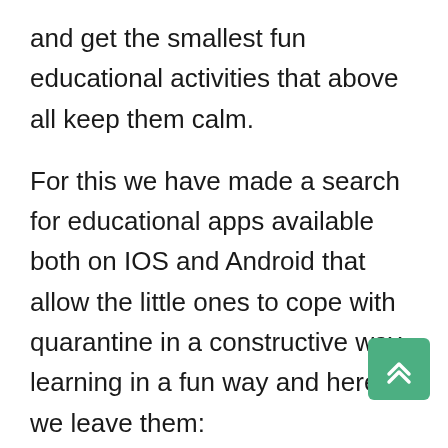and get the smallest fun educational activities that above all keep them calm.
For this we have made a search for educational apps available both on IOS and Android that allow the little ones to cope with quarantine in a constructive way, learning in a fun way and here we leave them:
Montessori Preschool, developed by Edoki Academy available on IOS, ANDROID, AND MORE!